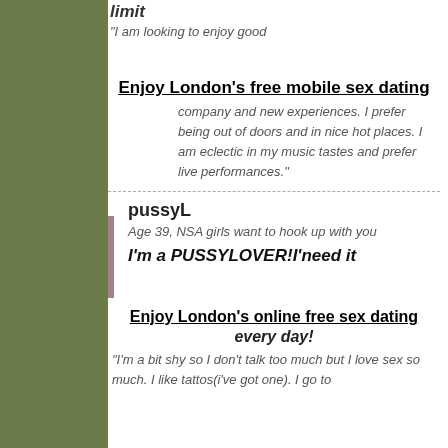[Figure (photo): Dark profile photo with purple border, top left]
limit
"I am looking to enjoy good
Enjoy London's free mobile sex dating
company and new experiences. I prefer being out of doors and in nice hot places. I am eclectic in my music tastes and prefer live performances."
[Figure (photo): Man with beard, purple border, profile photo]
pussyL
Age 39, NSA girls want to hook up with you
I'm a PUSSYLOVER!I'need it
Enjoy London's online free sex dating every day!
"I'm a bit shy so I don't talk too much but I love sex so much. I like tattos(i've got one). I go to